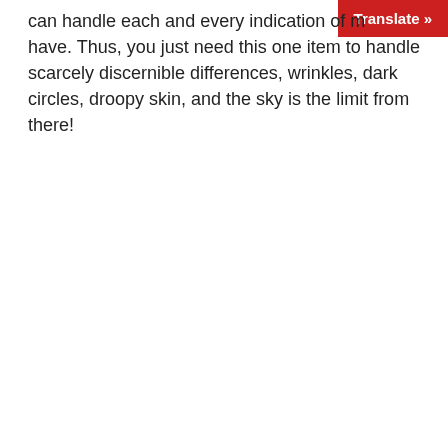[Figure (other): Red 'Translate »' button in the top-right corner of the page]
can handle each and every indication of m... have. Thus, you just need this one item to handle scarcely discernible differences, wrinkles, dark circles, droopy skin, and the sky is the limit from there!